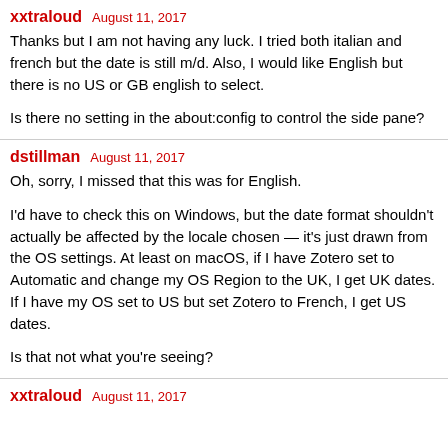xxtraloud   August 11, 2017
Thanks but I am not having any luck. I tried both italian and french but the date is still m/d. Also, I would like English but there is no US or GB english to select.
Is there no setting in the about:config to control the side pane?
dstillman   August 11, 2017
Oh, sorry, I missed that this was for English.
I'd have to check this on Windows, but the date format shouldn't actually be affected by the locale chosen — it's just drawn from the OS settings. At least on macOS, if I have Zotero set to Automatic and change my OS Region to the UK, I get UK dates. If I have my OS set to US but set Zotero to French, I get US dates.
Is that not what you're seeing?
xxtraloud   August 11, 2017